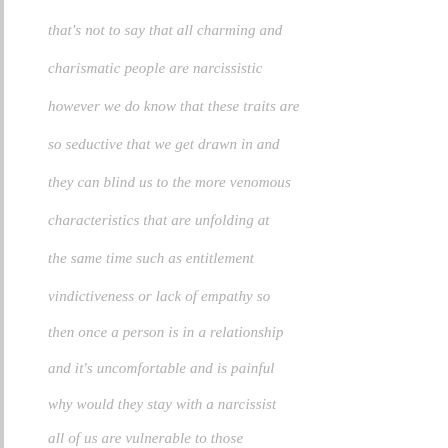that's not to say that all charming and charismatic people are narcissistic however we do know that these traits are so seductive that we get drawn in and they can blind us to the more venomous characteristics that are unfolding at the same time such as entitlement vindictiveness or lack of empathy so then once a person is in a relationship and it's uncomfortable and is painful why would they stay with a narcissist all of us are vulnerable to those